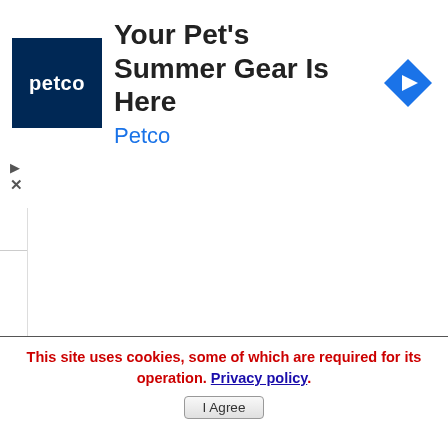[Figure (screenshot): Petco advertisement banner with Petco logo (dark blue square with 'petco' text), headline 'Your Pet's Summer Gear Is Here', brand name 'Petco' in blue, and a blue diamond navigation icon on the right. Play and close controls at bottom left.]
[Figure (screenshot): Collapse/accordion button showing an upward caret (^) inside a rounded rectangle tab.]
What is Reggae?
What is Dancehall?
Have a Question?
This site uses cookies, some of which are required for its operation. Privacy policy. I Agree